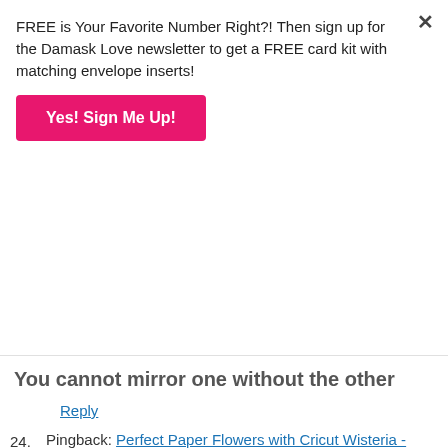FREE is Your Favorite Number Right?! Then sign up for the Damask Love newsletter to get a FREE card kit with matching envelope inserts!
Yes! Sign Me Up!
You cannot mirror one without the other
Reply
24. Pingback: Perfect Paper Flowers with Cricut Wisteria - Damask Love
25. Brin says: April 19, 2018 at 11:29 am
Did you have to cut multiple times on heavy leather setting?